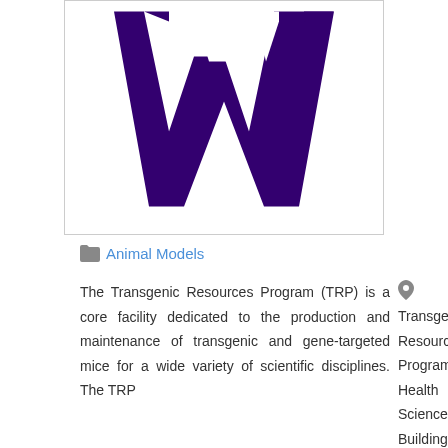[Figure (logo): University of Washington block W logo in dark purple on white background]
Animal Models
The Transgenic Resources Program (TRP) is a core facility dedicated to the production and maintenance of transgenic and gene-targeted mice for a wide variety of scientific disciplines. The TRP...
Transgenic Resources Program, Health Sciences Building, T-140, Se...